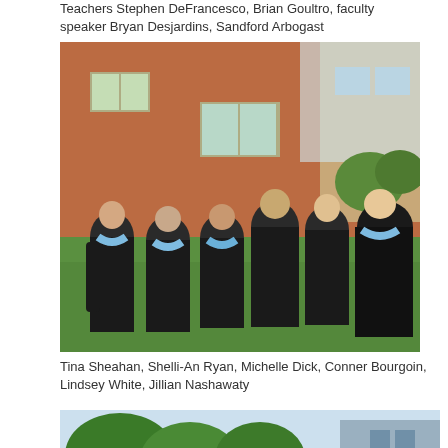Teachers Stephen DeFrancesco, Brian Goultro, faculty speaker Bryan Desjardins, Sandford Arbogast
[Figure (photo): Six people in black graduation gowns with light blue/purple hoods standing together outdoors on grass in front of a brick building, smiling for a group photo]
Tina Sheahan, Shelli-An Ryan, Michelle Dick, Conner Bourgoin, Lindsey White, Jillian Nashawaty
[Figure (photo): Partial view of an outdoor scene with trees and a building, the bottom portion of another graduation-related photo]